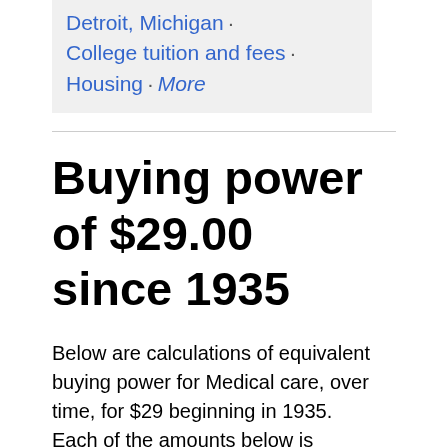Detroit, Michigan · College tuition and fees · Housing · More
Buying power of $29.00 since 1935
Below are calculations of equivalent buying power for Medical care, over time, for $29 beginning in 1935. Each of the amounts below is equivalent in terms of what it could buy at the time: